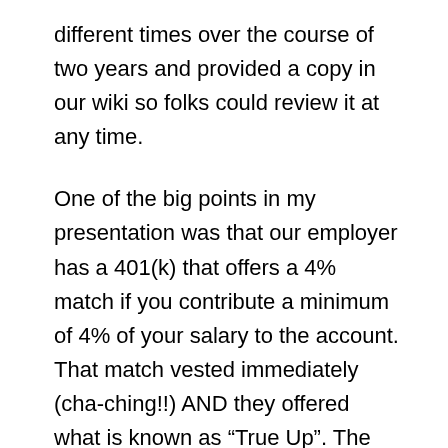different times over the course of two years and provided a copy in our wiki so folks could review it at any time.
One of the big points in my presentation was that our employer has a 401(k) that offers a 4% match if you contribute a minimum of 4% of your salary to the account. That match vested immediately (cha-ching!!) AND they offered what is known as “True Up”. The True Up feature looks at the previous full year of income, deferrals, and matching to determine if your 401(k) needs an additional employer contribution after the end of the year to make